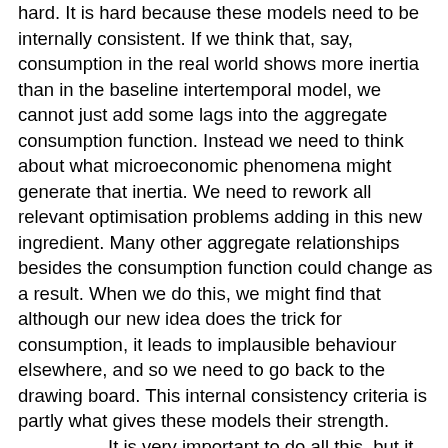hard. It is hard because these models need to be internally consistent. If we think that, say, consumption in the real world shows more inertia than in the baseline intertemporal model, we cannot just add some lags into the aggregate consumption function. Instead we need to think about what microeconomic phenomena might generate that inertia. We need to rework all relevant optimisation problems adding in this new ingredient. Many other aggregate relationships besides the consumption function could change as a result. When we do this, we might find that although our new idea does the trick for consumption, it leads to implausible behaviour elsewhere, and so we need to go back to the drawing board. This internal consistency criteria is partly what gives these models their strength.
	It is very important to do all this, but it takes time. It takes even longer to convince others that this innovation makes sense. As a result, the development of microfounded macromodels is a slow affair. The most obvious example to me is New Keynesian theory. It took many years for macroeconomists to develop theories of price rigidity in which all agents maximised and expectations were rational, and still longer for them to convince each other that some of